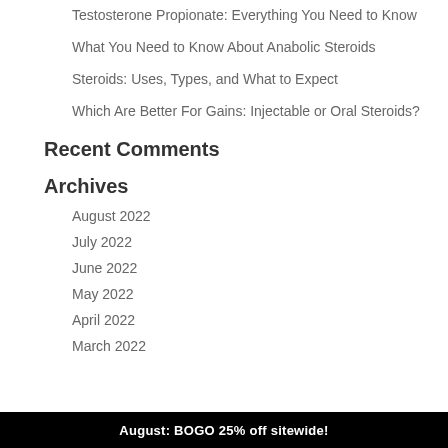Testosterone Propionate: Everything You Need to Know
What You Need to Know About Anabolic Steroids
Steroids: Uses, Types, and What to Expect
Which Are Better For Gains: Injectable or Oral Steroids?
Recent Comments
Archives
August 2022
July 2022
June 2022
May 2022
April 2022
March 2022
August: BOGO 25% off sitewide!